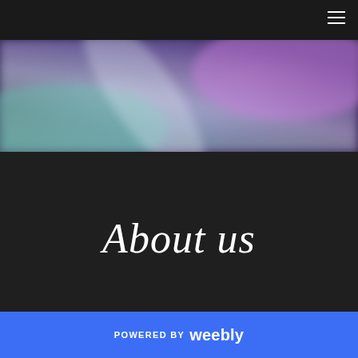Navigation bar with hamburger menu
[Figure (photo): Blurred colorful abstract photo with rainbow/aurora-like tones in pink, purple, teal, and green]
About us
POWERED BY weebly